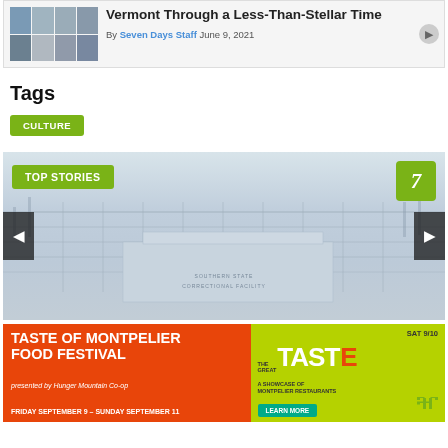[Figure (screenshot): Article card with grid of thumbnail photos and article title 'Vermont Through a Less-Than-Stellar Time' by Seven Days Staff, June 9, 2021]
Tags
CULTURE
[Figure (screenshot): Top Stories carousel banner showing a correctional facility building with 'TOP STORIES' label and Seven Days logo, with left/right navigation arrows]
[Figure (infographic): Advertisement for Taste of Montpelier Food Festival, presented by Hunger Mountain Co-op, SAT 9/10, Friday September 9 - Sunday September 11, The Great Taste - A Showcase of Montpelier Restaurants, Learn More button]